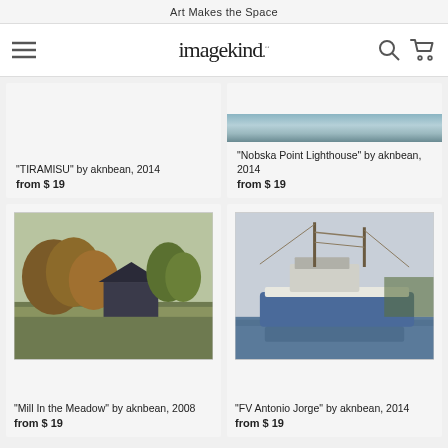Art Makes the Space
[Figure (logo): imagekind logo with hamburger menu, search icon, and cart icon]
"TIRAMISU" by aknbean, 2014
from $ 19
"Nobska Point Lighthouse" by aknbean, 2014
from $ 19
[Figure (photo): Mill In the Meadow - rural building with autumn trees]
[Figure (photo): FV Antonio Jorge - fishing boat in harbor]
"Mill In the Meadow" by aknbean, 2008
from $ 19
"FV Antonio Jorge" by aknbean, 2014
from $ 19